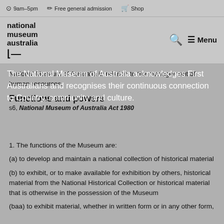9am–5pm   Free general admission   Shop
[Figure (logo): National Museum Australia logo with bold text and arrow mark]
National Museum of Australia in relation to the management of human resources.
Functions and powers
s6, National Museum of Australia Act 1980
The National Museum of Australia acknowledges First Australians and recognises their continuous connection to Country, community and culture.
1. The functions of the Museum are:
(a) to develop and maintain a national collection of historical material
(b) to exhibit, or to make available for exhibition by others, historical material from the National Historical Collection or historical material that is otherwise in the possession of the Museum
(baa) to exhibit material, whether in written form or in any other form,